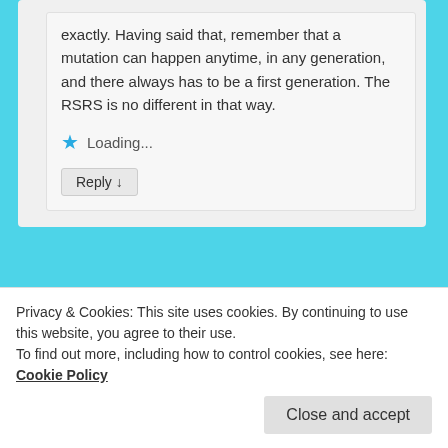exactly. Having said that, remember that a mutation can happen anytime, in any generation, and there always has to be a first generation. The RSRS is no different in that way.
Loading...
Reply ↓
[Figure (illustration): Pixelated/blocky avatar icon in teal/green colors with a grid pattern of squares and diamonds]
Privacy & Cookies: This site uses cookies. By continuing to use this website, you agree to their use.
To find out more, including how to control cookies, see here: Cookie Policy
Close and accept